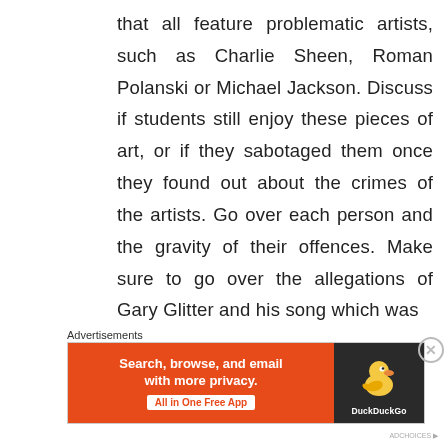that all feature problematic artists, such as Charlie Sheen, Roman Polanski or Michael Jackson. Discuss if students still enjoy these pieces of art, or if they sabotaged them once they found out about the crimes of the artists. Go over each person and the gravity of their offences. Make sure to go over the allegations of Gary Glitter and his song which was
Advertisements
[Figure (other): DuckDuckGo advertisement banner with orange background on left reading 'Search, browse, and email with more privacy. All in One Free App' and dark background on right with DuckDuckGo logo]